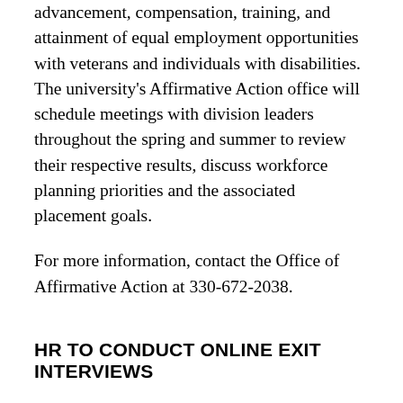advancement, compensation, training, and attainment of equal employment opportunities with veterans and individuals with disabilities. The university's Affirmative Action office will schedule meetings with division leaders throughout the spring and summer to review their respective results, discuss workforce planning priorities and the associated placement goals.
For more information, contact the Office of Affirmative Action at 330-672-2038.
HR TO CONDUCT ONLINE EXIT INTERVIEWS
In the coming months Human Resources will implement an exit interview for faculty and staff